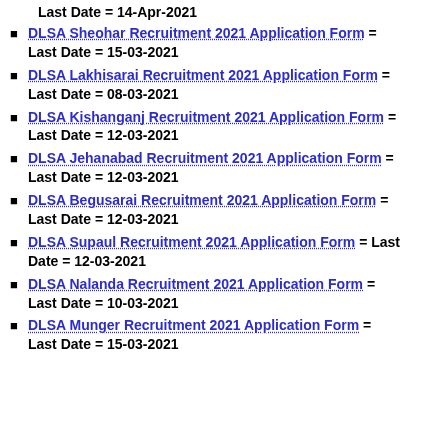DLSA Sheohar Recruitment 2021 Application Form = Last Date = 15-03-2021
DLSA Lakhisarai Recruitment 2021 Application Form = Last Date = 08-03-2021
DLSA Kishanganj Recruitment 2021 Application Form = Last Date = 12-03-2021
DLSA Jehanabad Recruitment 2021 Application Form = Last Date = 12-03-2021
DLSA Begusarai Recruitment 2021 Application Form = Last Date = 12-03-2021
DLSA Supaul Recruitment 2021 Application Form = Last Date = 12-03-2021
DLSA Nalanda Recruitment 2021 Application Form = Last Date = 10-03-2021
DLSA Munger Recruitment 2021 Application Form = Last Date = 15-03-2021